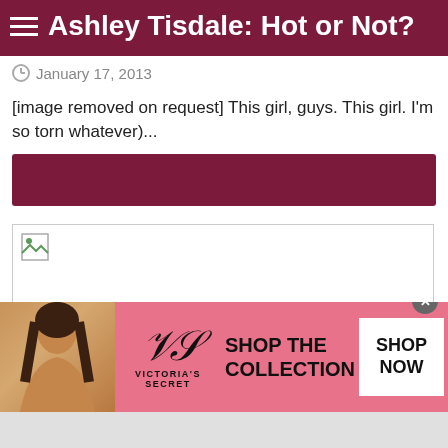Ashley Tisdale: Hot or Not?
January 17, 2013
[image removed on request] This girl, guys. This girl. I'm so torn whatever)...
[Figure (other): Dark maroon/burgundy button or bar element]
[Figure (other): Broken image placeholder]
[Figure (advertisement): Victoria's Secret advertisement banner with model, VS logo, SHOP THE COLLECTION text and SHOP NOW button]